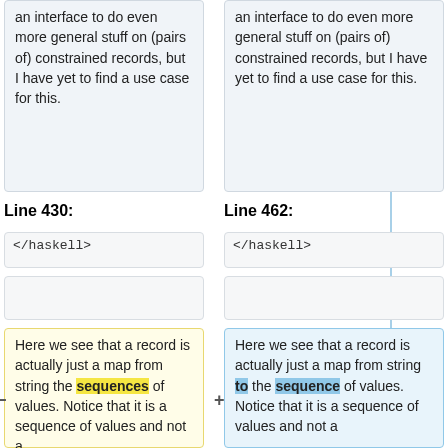an interface to do even more general stuff on (pairs of) constrained records, but I have yet to find a use case for this.
an interface to do even more general stuff on (pairs of) constrained records, but I have yet to find a use case for this.
Line 430:
Line 462:
</haskell>
</haskell>
Here we see that a record is actually just a map from string the sequences of values. Notice that it is a sequence of values and not a
Here we see that a record is actually just a map from string to the sequence of values. Notice that it is a sequence of values and not a